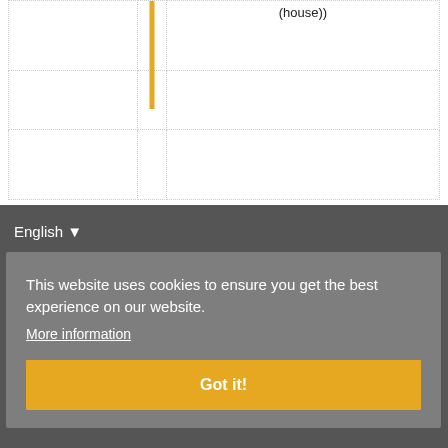|  |  | (house)) |
|  |  |  |
|  |  |  |
English ▾
This website uses cookies to ensure you get the best experience on our website. More information
Got it!